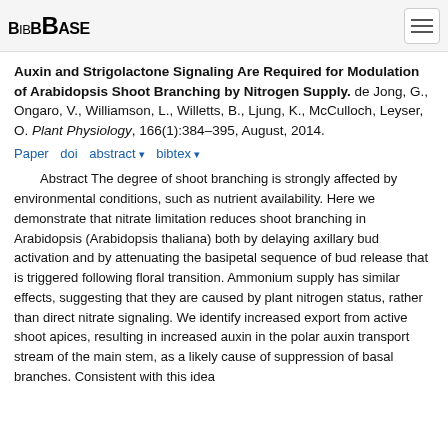BibBase
Auxin and Strigolactone Signaling Are Required for Modulation of Arabidopsis Shoot Branching by Nitrogen Supply. de Jong, G., Ongaro, V., Williamson, L., Willetts, B., Ljung, K., McCulloch, Leyser, O. Plant Physiology, 166(1):384–395, August, 2014.
Paper  doi  abstract ▾  bibtex ▾
Abstract The degree of shoot branching is strongly affected by environmental conditions, such as nutrient availability. Here we demonstrate that nitrate limitation reduces shoot branching in Arabidopsis (Arabidopsis thaliana) both by delaying axillary bud activation and by attenuating the basipetal sequence of bud release that is triggered following floral transition. Ammonium supply has similar effects, suggesting that they are caused by plant nitrogen status, rather than direct nitrate signaling. We identify increased export from active shoot apices, resulting in increased auxin in the polar auxin transport stream of the main stem, as a likely cause of suppression of basal branches. Consistent with this idea